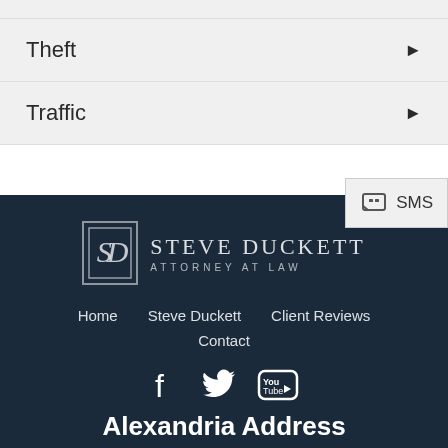Theft
Traffic
[Figure (logo): Steve Duckett Attorney at Law logo with SD monogram in a box]
Home   Steve Duckett   Client Reviews   Contact
[Figure (infographic): Social media icons: Facebook, Twitter, YouTube]
Alexandria Address